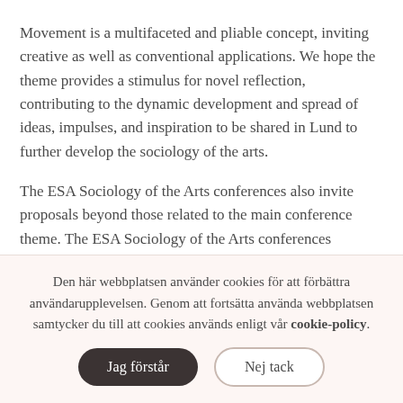Movement is a multifaceted and pliable concept, inviting creative as well as conventional applications. We hope the theme provides a stimulus for novel reflection, contributing to the dynamic development and spread of ideas, impulses, and inspiration to be shared in Lund to further develop the sociology of the arts.
The ESA Sociology of the Arts conferences also invite proposals beyond those related to the main conference theme. The ESA Sociology of the Arts conferences
Den här webbplatsen använder cookies för att förbättra användarupplevelsen. Genom att fortsätta använda webbplatsen samtycker du till att cookies används enligt vår cookie-policy.